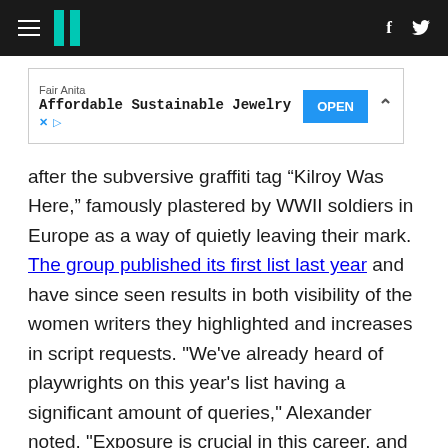HuffPost navigation bar with logo, hamburger menu, Facebook and Twitter icons
[Figure (other): Advertisement banner: Fair Anita — Affordable Sustainable Jewelry — OPEN button]
after the subversive graffiti tag “Kilroy Was Here,” famously plastered by WWII soldiers in Europe as a way of quietly leaving their mark. The group published its first list last year and have since seen results in both visibility of the women writers they highlighted and increases in script requests. "We've already heard of playwrights on this year's list having a significant amount of queries," Alexander noted. "Exposure is crucial in this career, and we hope The List allows for a push for the listed writers."